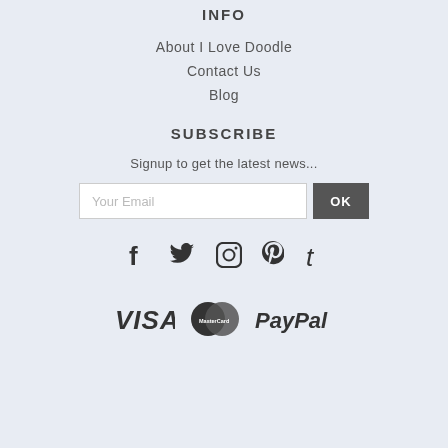INFO
About I Love Doodle
Contact Us
Blog
SUBSCRIBE
Signup to get the latest news...
[Figure (other): Email input field with placeholder 'Your Email' and an OK button]
[Figure (other): Social media icons: Facebook, Twitter, Instagram, Pinterest, Tumblr]
[Figure (other): Payment method logos: VISA, MasterCard, PayPal]